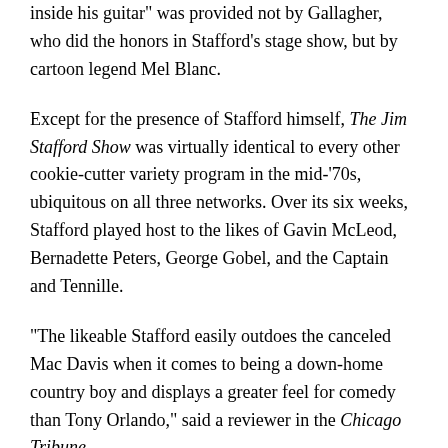inside his guitar" was provided not by Gallagher, who did the honors in Stafford's stage show, but by cartoon legend Mel Blanc.
Except for the presence of Stafford himself, The Jim Stafford Show was virtually identical to every other cookie-cutter variety program in the mid-'70s, ubiquitous on all three networks. Over its six weeks, Stafford played host to the likes of Gavin McLeod, Bernadette Peters, George Gobel, and the Captain and Tennille.
“The likeable Stafford easily outdoes the canceled Mac Davis when it comes to being a down-home country boy and displays a greater feel for comedy than Tony Orlando,” said a reviewer in the Chicago Tribune.
Ultimately, however, Tony Orlando got the last laugh. The summer series was not picked up for a regular run. And that fall, the premiere of Saturday Night Live sounded the death knell for old-school TV variety hours. “Phil was in his element when he was producing…